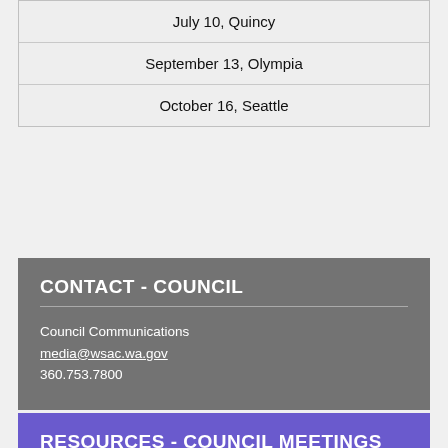| July 10, Quincy |
| September 13, Olympia |
| October 16, Seattle |
CONTACT - COUNCIL
Council Communications
media@wsac.wa.gov
360.753.7800
RESOURCES - COUNCIL MEETINGS